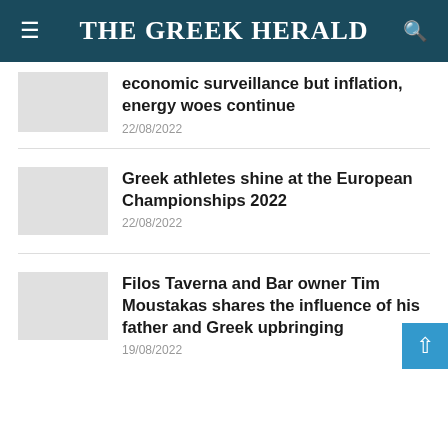THE GREEK HERALD
economic surveillance but inflation, energy woes continue
22/08/2022
Greek athletes shine at the European Championships 2022
22/08/2022
Filos Taverna and Bar owner Tim Moustakas shares the influence of his father and Greek upbringing
19/08/2022